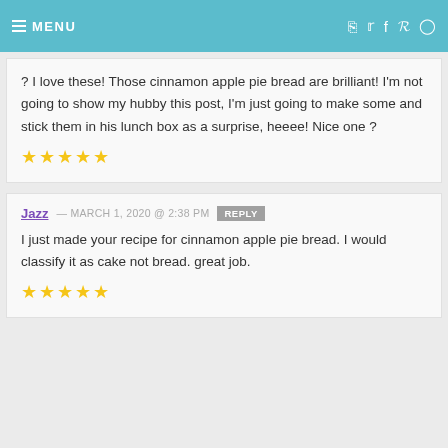MENU
? I love these! Those cinnamon apple pie bread are brilliant! I'm not going to show my hubby this post, I'm just going to make some and stick them in his lunch box as a surprise, heeee! Nice one ? ★★★★★
Jazz — MARCH 1, 2020 @ 2:38 PM REPLY
I just made your recipe for cinnamon apple pie bread. I would classify it as cake not bread. great job. ★★★★★